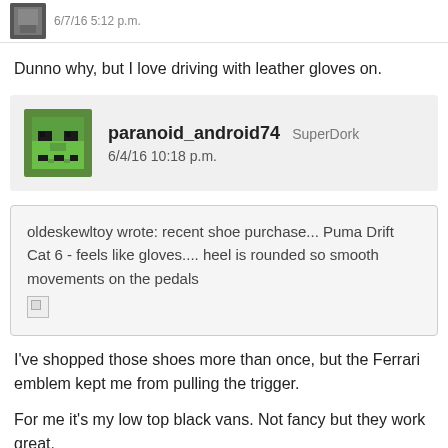[Figure (screenshot): Top snippet showing a partially visible user post with avatar and timestamp cropped at top]
Dunno why, but I love driving with leather gloves on.
[Figure (screenshot): User header for paranoid_android74 with green Minecraft-style avatar, SuperDork role, timestamp 6/4/16 10:18 p.m.]
oldeskewltoy wrote: recent shoe purchase... Puma Drift Cat 6 - feels like gloves.... heel is rounded so smooth movements on the pedals [broken image]
I've shopped those shoes more than once, but the Ferrari emblem kept me from pulling the trigger.
For me it's my low top black vans. Not fancy but they work great.